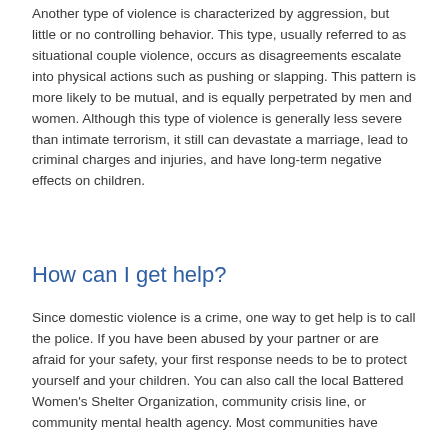Another type of violence is characterized by aggression, but little or no controlling behavior. This type, usually referred to as situational couple violence, occurs as disagreements escalate into physical actions such as pushing or slapping. This pattern is more likely to be mutual, and is equally perpetrated by men and women. Although this type of violence is generally less severe than intimate terrorism, it still can devastate a marriage, lead to criminal charges and injuries, and have long-term negative effects on children.
How can I get help?
Since domestic violence is a crime, one way to get help is to call the police. If you have been abused by your partner or are afraid for your safety, your first response needs to be to protect yourself and your children. You can also call the local Battered Women's Shelter Organization, community crisis line, or community mental health agency. Most communities have